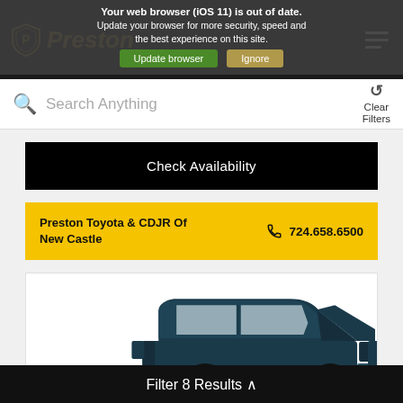Preston - Dealership navigation header with logo and hamburger menu
Your web browser (iOS 11) is out of date. Update your browser for more security, speed and the best experience on this site.
Update browser | Ignore
Search Anything | Clear Filters
Check Availability
Preston Toyota & CDJR Of New Castle  724.658.6500
[Figure (photo): Dark teal/navy pickup truck (Toyota Tundra) photographed from the side on a white background, partially cropped at bottom of page.]
Filter 8 Results ^